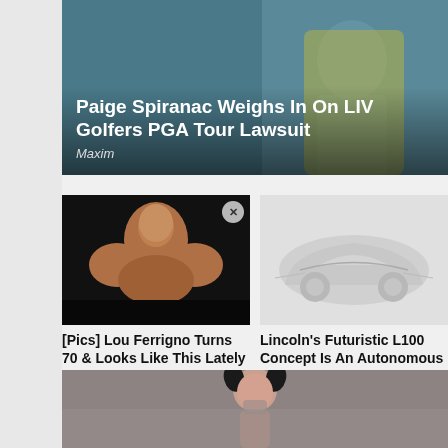[Figure (photo): Top banner card showing Paige Spiranac in yellow jacket on teal/blue background]
Paige Spiranac Weighs In On LIV Golfers PGA Tour Lawsuit
Maxim
[Figure (photo): Lou Ferrigno muscular bodybuilder photo on dark background with close X button]
[Pics] Lou Ferrigno Turns 70 & Looks Like This Lately
Insblueprint
[Figure (photo): Lincoln L100 futuristic concept car illustration on grey background]
Lincoln's Futuristic L100 Concept Is An Autonomous Ultra-Luxur...
Maxim
[Figure (photo): Bottom banner partially visible showing person with dark pigtail hair on grey/brown background]